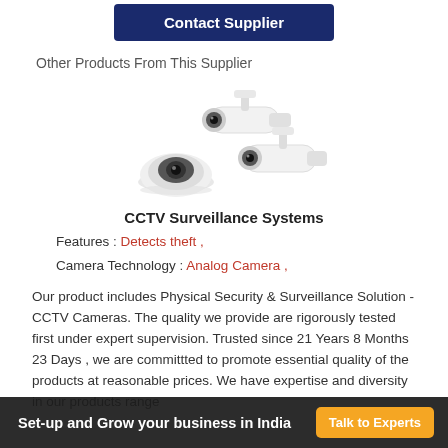[Figure (other): Contact supplier button (dark navy blue button with white text)]
Other Products From This Supplier
[Figure (photo): Three CCTV surveillance cameras grouped together — two bullet/cylinder cameras and one dome camera, all white]
CCTV Surveillance Systems
Features : Detects theft ,
Camera Technology : Analog Camera ,
Our product includes Physical Security & Surveillance Solution -CCTV Cameras. The quality we provide are rigorously tested first under expert supervision. Trusted since 21 Years 8 Months 23 Days , we are committted to promote essential quality of the products at reasonable prices. We have expertise and diversity in our products range
Set-up and Grow your business in India  Talk to Experts